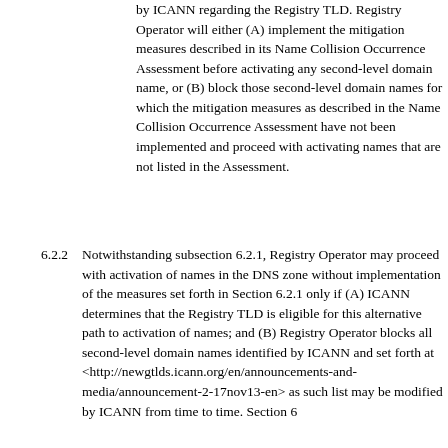by ICANN regarding the Registry TLD. Registry Operator will either (A) implement the mitigation measures described in its Name Collision Occurrence Assessment before activating any second-level domain name, or (B) block those second-level domain names for which the mitigation measures as described in the Name Collision Occurrence Assessment have not been implemented and proceed with activating names that are not listed in the Assessment.
6.2.2  Notwithstanding subsection 6.2.1, Registry Operator may proceed with activation of names in the DNS zone without implementation of the measures set forth in Section 6.2.1 only if (A) ICANN determines that the Registry TLD is eligible for this alternative path to activation of names; and (B) Registry Operator blocks all second-level domain names identified by ICANN and set forth at <http://newgtlds.icann.org/en/announcements-and-media/announcement-2-17nov13-en> as such list may be modified by ICANN from time to time. Section 6...